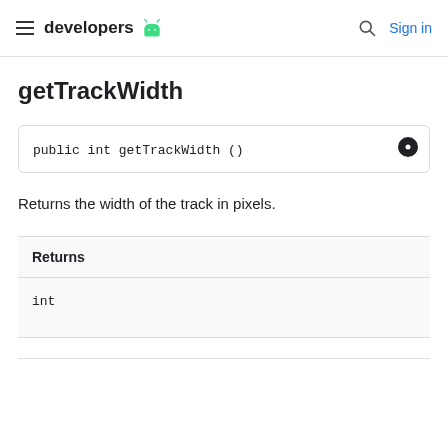developers | Sign in
getTrackWidth
Returns the width of the track in pixels.
| Returns |
| --- |
| int |